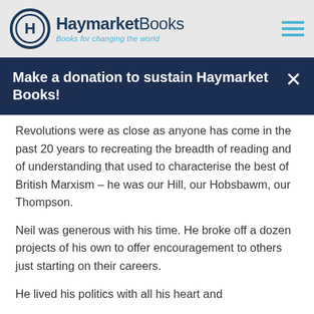Haymarket Books – Books for changing the world
Make a donation to sustain Haymarket Books!
Revolutions were as close as anyone has come in the past 20 years to recreating the breadth of reading and of understanding that used to characterise the best of British Marxism – he was our Hill, our Hobsbawm, our Thompson.
Neil was generous with his time. He broke off a dozen projects of his own to offer encouragement to others just starting on their careers.
He lived his politics with all his heart and